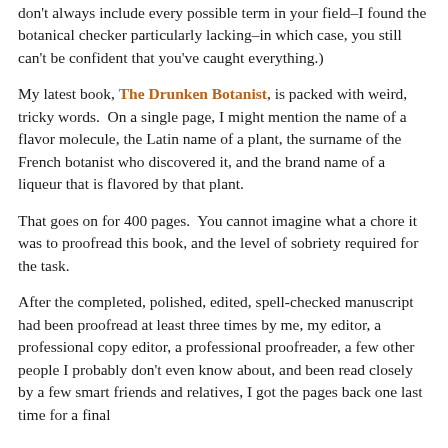don't always include every possible term in your field–I found the botanical checker particularly lacking–in which case, you still can't be confident that you've caught everything.)
My latest book, The Drunken Botanist, is packed with weird, tricky words.  On a single page, I might mention the name of a flavor molecule, the Latin name of a plant, the surname of the French botanist who discovered it, and the brand name of a liqueur that is flavored by that plant.
That goes on for 400 pages.  You cannot imagine what a chore it was to proofread this book, and the level of sobriety required for the task.
After the completed, polished, edited, spell-checked manuscript had been proofread at least three times by me, my editor, a professional copy editor, a professional proofreader, a few other people I probably don't even know about, and been read closely by a few smart friends and relatives, I got the pages back one last time for a final